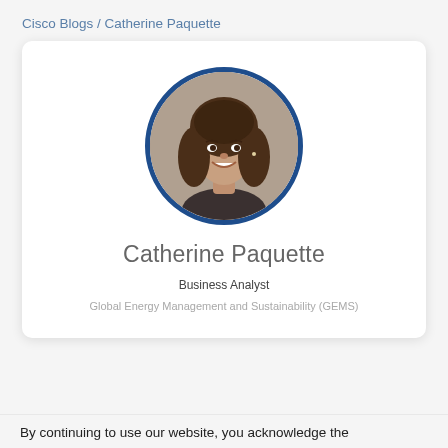Cisco Blogs / Catherine Paquette
[Figure (photo): Circular portrait photo of Catherine Paquette, a young woman with long curly brown hair, smiling, shown from shoulders up against a neutral background. The photo is framed in a dark navy blue circular border.]
Catherine Paquette
Business Analyst
Global Energy Management and Sustainability (GEMS)
By continuing to use our website, you acknowledge the